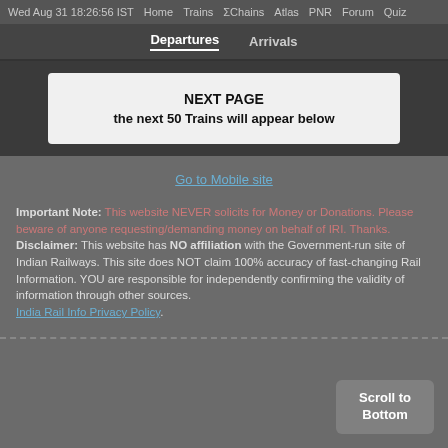Wed Aug 31 18:26:56 IST  Home  Trains  ΣChains  Atlas  PNR  Forum  Quiz
Departures   Arrivals
NEXT PAGE
the next 50 Trains will appear below
Go to Mobile site
Important Note: This website NEVER solicits for Money or Donations. Please beware of anyone requesting/demanding money on behalf of IRI. Thanks.
Disclaimer: This website has NO affiliation with the Government-run site of Indian Railways. This site does NOT claim 100% accuracy of fast-changing Rail Information. YOU are responsible for independently confirming the validity of information through other sources.
India Rail Info Privacy Policy.
Scroll to Bottom